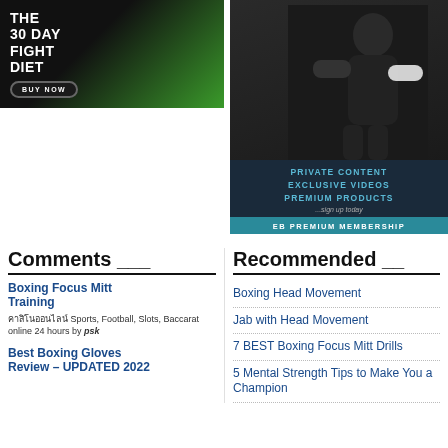[Figure (photo): Advertisement banner for 'The 30 Day Fight Diet' showing a muscular man, a book cover, and a BUY NOW button on dark/green background]
[Figure (photo): Advertisement for EB Premium Membership showing a boxer with text: PRIVATE CONTENT, EXCLUSIVE VIDEOS, PREMIUM PRODUCTS, ...sign up today, EB PREMIUM MEMBERSHIP]
Comments
Boxing Focus Mitt Training — คาสิโนออนไลน์ Sports, Football, Slots, Baccarat online 24 hours by psk
Best Boxing Gloves Review – UPDATED 2022
Recommended
Boxing Head Movement
Jab with Head Movement
7 BEST Boxing Focus Mitt Drills
5 Mental Strength Tips to Make You a Champion